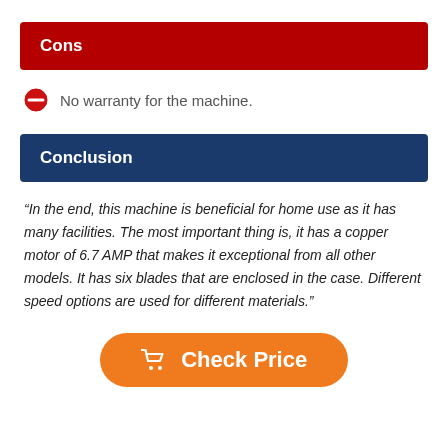Cons
No warranty for the machine.
Conclusion
“In the end, this machine is beneficial for home use as it has many facilities. The most important thing is, it has a copper motor of 6.7 AMP that makes it exceptional from all other models. It has six blades that are enclosed in the case. Different speed options are used for different materials.”
[Figure (other): Orange rounded button with shopping cart icon and 'Check Price' text]